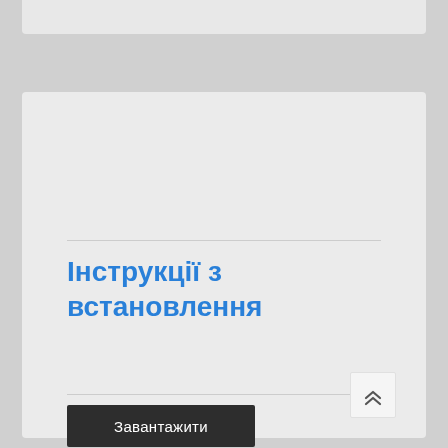Інструкції з встановлення
Завантажити